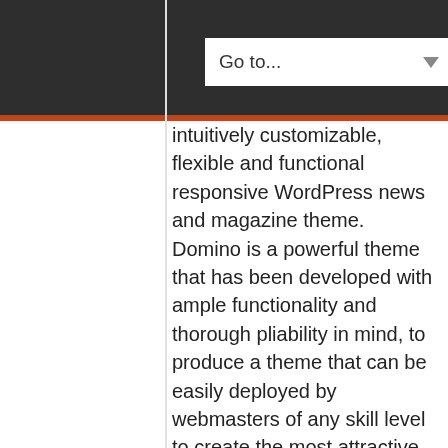[Figure (screenshot): Dark navigation bar with 'Go to...' dropdown button and orange accent stripe]
intuitively customizable, flexible and functional responsive WordPress news and magazine theme. Domino is a powerful theme that has been developed with ample functionality and thorough pliability in mind, to produce a theme that can be easily deployed by webmasters of any skill level to create the most attractive and engaging news websites on the market.
With potent features like the Dynamic Homepage Builder and the Visual Customizer, along with an advanced Theme Options Panel, Domino will quickly and effortlessly lend itself to suit your every visual and branding necessity. And with the Jetpack supercharge pack included, tons of sophisticated elements like Tiled Galleries, Related Posts and Extra Sidebar Widgets become instantly available for your utmost convenience. Domino includes a wealth of widgets and shortcodes to save your precious time in developing your pages so you can focus